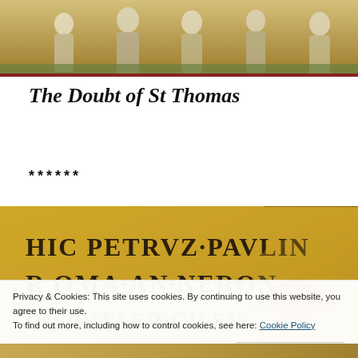[Figure (photo): Top portion of a Byzantine mosaic showing robed figures against a golden background]
The Doubt of St Thomas
******
[Figure (photo): Byzantine mosaic inscription reading HIC PETRVZ PAVLIN ROMA AN NERON DISPVTAER CV SV against a golden tessellated background with an architectural element]
Privacy & Cookies: This site uses cookies. By continuing to use this website, you agree to their use.
To find out more, including how to control cookies, see here: Cookie Policy
Close and accept